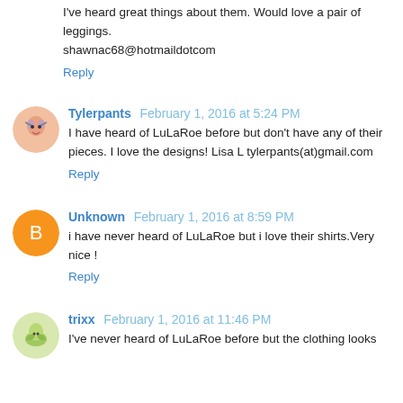I've heard great things about them. Would love a pair of leggings.
shawnac68@hotmaildotcom
Reply
Tylerpants February 1, 2016 at 5:24 PM
I have heard of LuLaRoe before but don't have any of their pieces. I love the designs! Lisa L tylerpants(at)gmail.com
Reply
Unknown February 1, 2016 at 8:59 PM
i have never heard of LuLaRoe but i love their shirts.Very nice !
Reply
trixx February 1, 2016 at 11:46 PM
I've never heard of LuLaRoe before but the clothing looks